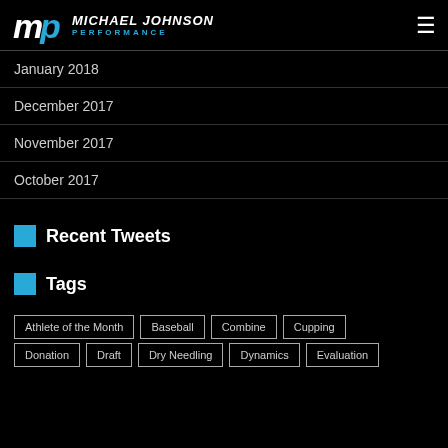Michael Johnson Performance
January 2018
December 2017
November 2017
October 2017
Recent Tweets
Tags
Athlete of the Month
Baseball
Combine
Cupping
Donation
Draft
Dry Needling
Dynamics
Evaluation